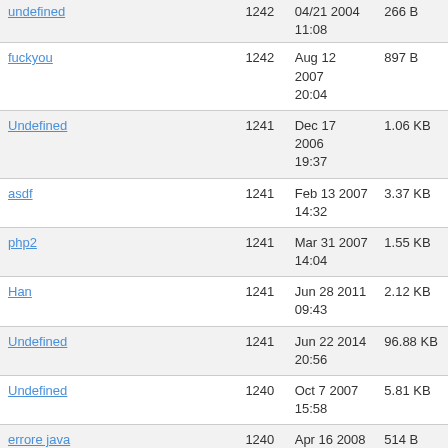| Name | Count | Date | Size |
| --- | --- | --- | --- |
| undefined | 1242 | 04/21 2004 11:08 | 266 B |
| fuckyou | 1242 | Aug 12 2007 20:04 | 897 B |
| Undefined | 1241 | Dec 17 2006 19:37 | 1.06 KB |
| asdf | 1241 | Feb 13 2007 14:32 | 3.37 KB |
| php2 | 1241 | Mar 31 2007 14:04 | 1.55 KB |
| Han | 1241 | Jun 28 2011 09:43 | 2.12 KB |
| Undefined | 1241 | Jun 22 2014 20:56 | 96.88 KB |
| Undefined | 1240 | Oct 7 2007 15:58 | 5.81 KB |
| errore java | 1240 | Apr 16 2008 12:43 | 514 B |
| for armani | 1239 | Sep 19 2006 06:49 | 671 B |
| python treeview editable??? | 1239 | Aug 21 2007 06:45 | 2.04 KB |
| Undefined | 1239 | Mar 25 2008 13:48 | 64 KB |